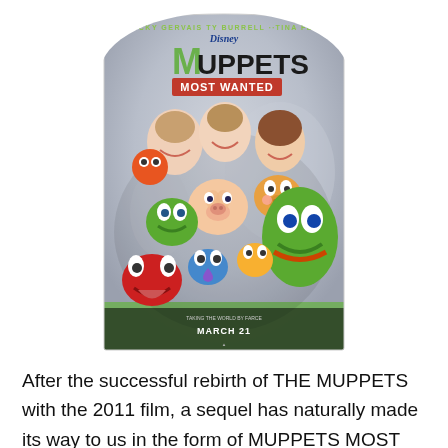[Figure (photo): Movie poster for Muppets Most Wanted (Disney). Features Ricky Gervais, Ty Burrell, and Tina Fey at the top along with many Muppet characters including Kermit the Frog, Miss Piggy, Animal, and others. Bottom text reads 'Taking The World By Force' and 'March 21'.]
After the successful rebirth of THE MUPPETS with the 2011 film, a sequel has naturally made its way to us in the form of MUPPETS MOST WANTED. The Muppets are indeed back, winning over new fans and pleasing the old